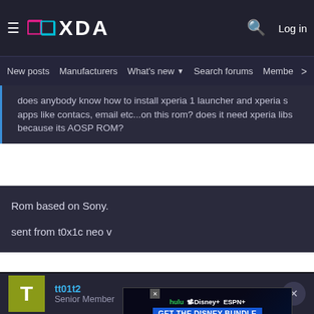XDA — New posts  Manufacturers  What's new  Search forums  Members
does anybody know how to install xperia 1 launcher and xperia s apps like contacs, email etc...on this rom? does it need xperia libs because its AOSP ROM?
Rom based on Sony.

sent from t0x1c neo v
tt01t2
Senior Member
[Figure (screenshot): Disney Bundle advertisement banner: hulu, Disney+, ESPN+ — GET THE DISNEY BUNDLE. Incl. Hulu (ad-supported) or Hulu (No Ads). Access content from each service separately. ©2021 Disney and its related entities]